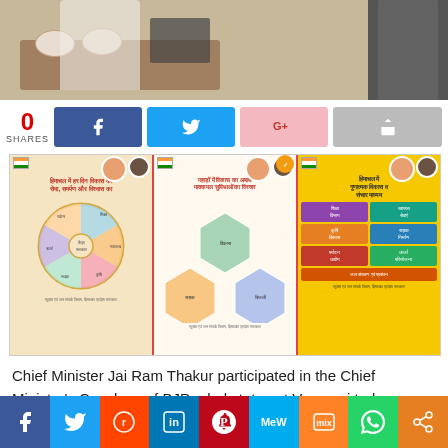[Figure (photo): Top portion of a news article showing two people at a table with food/bowls, partially cropped, with a dark-suited figure on the right side (grayscale).]
0 SHARES
[Figure (infographic): Three Hindi-language government infographic panels: (1) Beige panel with circular pie/wheel diagram about Himachal Pradesh development – 'Himachal mein har din vikas ka seva, samarpan aur vishwas ka'; (2) White/cream panel with hexagonal shapes about mountain development and infrastructure expansion; (3) Yellow panel with a grid of colored tag/box elements about positive development in Himachal Pradesh via social media.]
Chief Minister Jai Ram Thakur participated in the Chief Minister's Conclave of BJP ruled states at Varanasi today. Prime Minister Narendra Modi presided over the conclave. He reviewed the progress of implementation of various Centrally Sponsored Flagship Programmes by the State
[Figure (infographic): Bottom social sharing bar with icons for Facebook, Twitter, Reddit, LinkedIn, Pinterest, MeWe, Mix, WhatsApp, and share.]